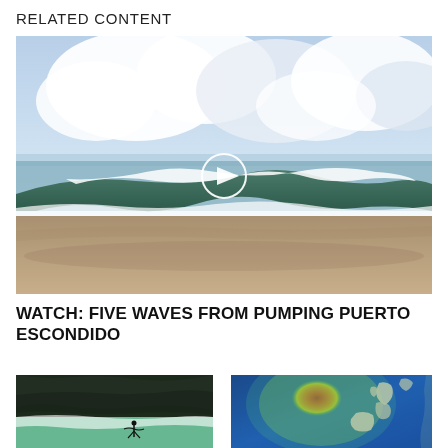RELATED CONTENT
[Figure (photo): Beach scene with large breaking waves at Puerto Escondido, cloudy sky, sandy beach in foreground, with a circular play button overlay indicating a video]
WATCH: FIVE WAVES FROM PUMPING PUERTO ESCONDIDO
[Figure (photo): Surfer riding a green wave with dark rocky cliffs in the background]
[Figure (photo): Ocean wave height or swell forecast map showing Europe and Atlantic with heat-map colors from blue (low) to red (high intensity)]